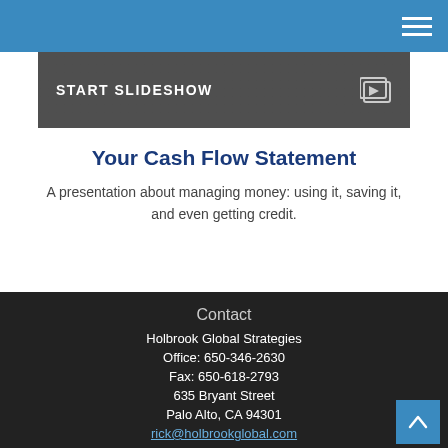START SLIDESHOW
Your Cash Flow Statement
A presentation about managing money: using it, saving it, and even getting credit.
Contact
Holbrook Global Strategies
Office: 650-346-2630
Fax: 650-618-2793
635 Bryant Street
Palo Alto, CA 94301
rick@holbrookglobal.com